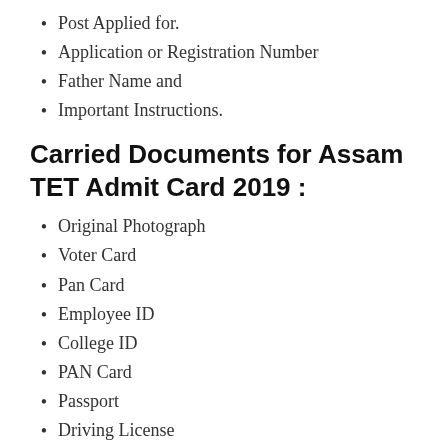Post Applied for.
Application or Registration Number
Father Name and
Important Instructions.
Carried Documents for Assam TET Admit Card 2019 :
Original Photograph
Voter Card
Pan Card
Employee ID
College ID
PAN Card
Passport
Driving License
Any other ID proof issued by a Gazetted Officer
Bank Pass Book (the last character is cut off)